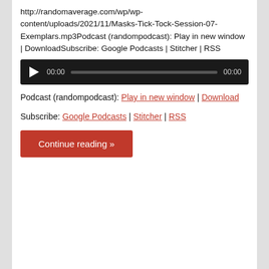http://randomaverage.com/wp/wp-content/uploads/2021/11/Masks-Tick-Tock-Session-07-Exemplars.mp3Podcast (randompodcast): Play in new window | DownloadSubscribe: Google Podcasts | Stitcher | RSS
[Figure (screenshot): Audio player with play button, time 00:00, progress bar, and end time 00:00 on black background]
Podcast (randompodcast): Play in new window | Download
Subscribe: Google Podcasts | Stitcher | RSS
Continue reading »